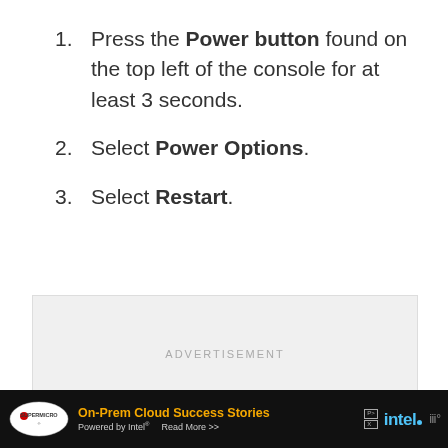Press the Power button found on the top left of the console for at least 3 seconds.
Select Power Options.
Select Restart.
[Figure (other): Advertisement placeholder box with 'ADVERTISEMENT' label]
[Figure (other): Bottom advertisement banner: Supermicro logo, 'On-Prem Cloud Success Stories Powered by Intel Read More >>' text, Intel logo, WPP icon]